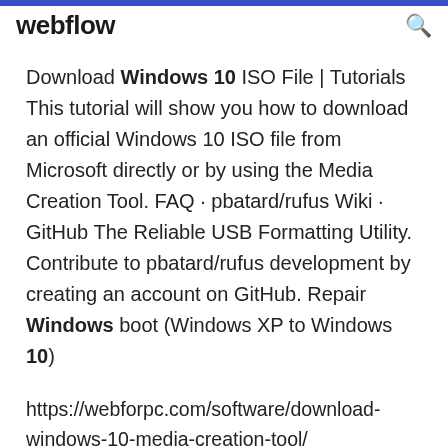webflow
Download Windows 10 ISO File | Tutorials This tutorial will show you how to download an official Windows 10 ISO file from Microsoft directly or by using the Media Creation Tool. FAQ · pbatard/rufus Wiki · GitHub The Reliable USB Formatting Utility. Contribute to pbatard/rufus development by creating an account on GitHub. Repair Windows boot (Windows XP to Windows 10)
https://webforpc.com/software/download-windows-10-media-creation-tool/
https://www.quora.com/How-much-date-is-consumed-when-upgrading-windows-10-through-Media-Creation-Tool